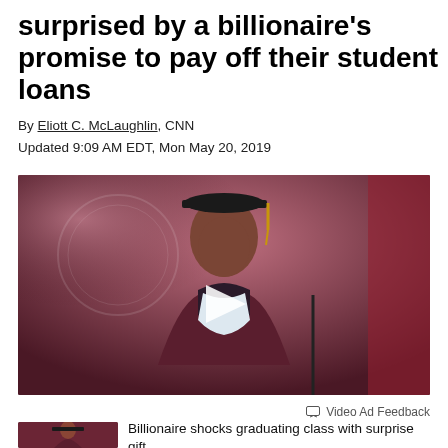surprised by a billionaire's promise to pay off their student loans
By Eliott C. McLaughlin, CNN
Updated 9:09 AM EDT, Mon May 20, 2019
[Figure (photo): A man in graduation regalia (cap, gown, stole) speaking at a podium, shown from chest up. Background is red/maroon with an institutional seal. A play button overlay indicates this is a video thumbnail.]
Video Ad Feedback
Billionaire shocks graduating class with surprise gift